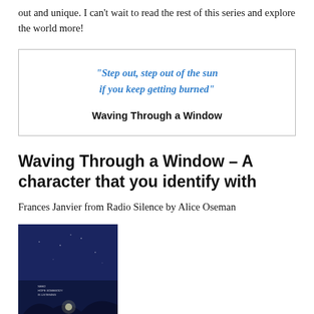out and unique. I can't wait to read the rest of this series and explore the world more!
[Figure (other): Quote box with decorative border containing italic blue text: "Step out, step out of the sun if you keep getting burned" and below it bold black text: Waving Through a Window]
Waving Through a Window – A character that you identify with
Frances Janvier from Radio Silence by Alice Oseman
[Figure (photo): Book cover of 'Radio Silence' by Alice Oseman. Dark blue/navy background with silhouettes of hills and a glowing light in the distance. White text at bottom reads 'RADIO SILENCE'.]